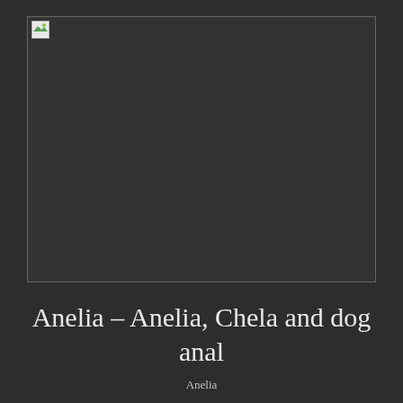[Figure (photo): Broken/unloaded image placeholder with border on dark background]
Anelia – Anelia, Chela and dog anal
Anelia